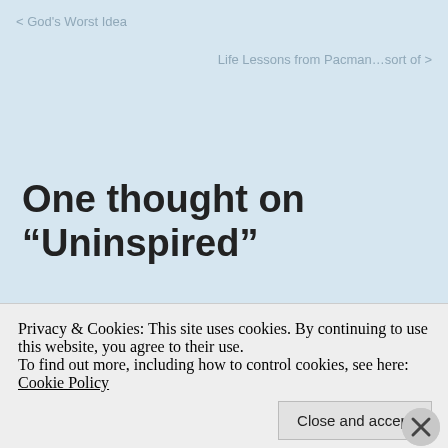< God's Worst Idea
Life Lessons from Pacman…sort of >
One thought on “Uninspired”
KTC
Privacy & Cookies: This site uses cookies. By continuing to use this website, you agree to their use.
To find out more, including how to control cookies, see here: Cookie Policy
Close and accept